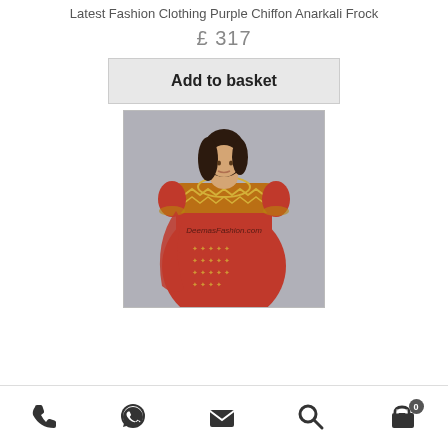Latest Fashion Clothing Purple Chiffon Anarkali Frock
£ 317
Add to basket
[Figure (photo): A woman wearing a red embroidered Anarkali frock with gold detailing on the bodice and dupatta. Watermark: DeemasFashion.com]
Phone | WhatsApp | Email | Search | Cart (0)